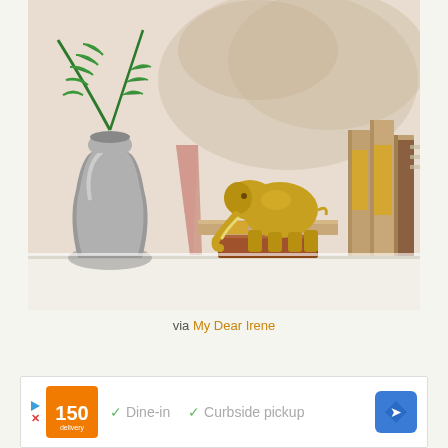[Figure (photo): A styled shelf display featuring a silver metallic vase with green fern leaves, a gold brass elephant figurine on a wooden block base, and several tan/brown books with gold leaf spine accents, arranged on a white shelf against a white/beige painted background.]
via My Dear Irene
[Figure (other): Advertisement banner with orange logo icon, checkmarks for Dine-in and Curbside pickup services, and a blue navigation arrow icon.]